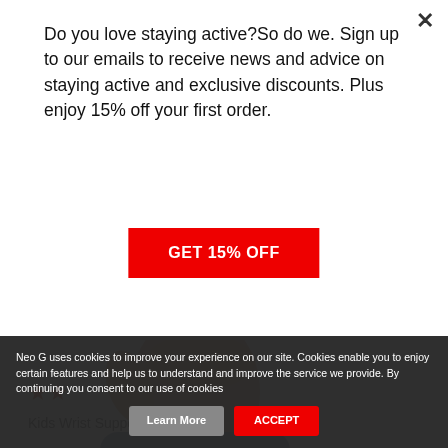Do you love staying active?So do we. Sign up to our emails to receive news and advice on staying active and exclusive discounts. Plus enjoy 15% off your first order.
GET 15% OFF
[Figure (photo): A child's hand wearing a blue Neo G kids wrist support brace, held in a fist position. A 'SOLD OUT' badge is overlaid on the product image.]
★★
Kids Wrist Support
Neo G uses cookies to improve your experience on our site. Cookies enable you to enjoy certain features and help us to understand and improve the service we provide. By continuing you consent to our use of cookies
Learn More
ACCEPT